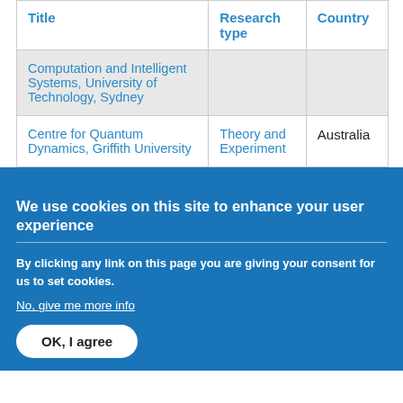| Title | Research type | Country |
| --- | --- | --- |
| Computation and Intelligent Systems, University of Technology, Sydney |  |  |
| Centre for Quantum Dynamics, Griffith University | Theory and Experiment | Australia |
We use cookies on this site to enhance your user experience
By clicking any link on this page you are giving your consent for us to set cookies.
No, give me more info
OK, I agree